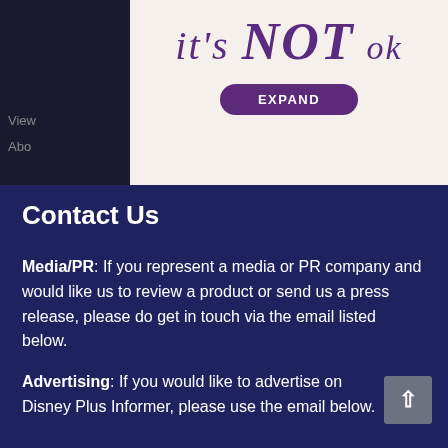[Figure (illustration): Advertisement banner with cursive text 'it's NOT ok' in purple on off-white background with an EXPAND button]
View
Abo
Contact Us
Media/PR: If you represent a media or PR company and would like us to review a product or send us a press release, please do get in touch via the email listed below.
Advertising: If you would like to advertise on Disney Plus Informer, please use the email below.